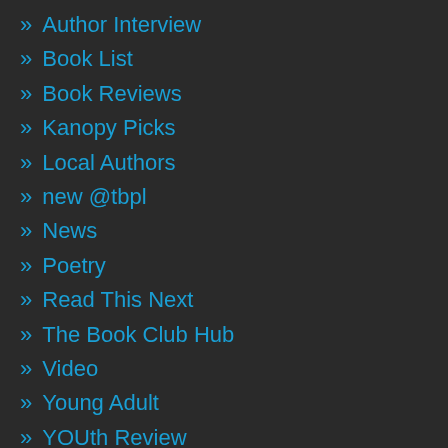» Author Interview
» Book List
» Book Reviews
» Kanopy Picks
» Local Authors
» new @tbpl
» News
» Poetry
» Read This Next
» The Book Club Hub
» Video
» Young Adult
» YOUth Review